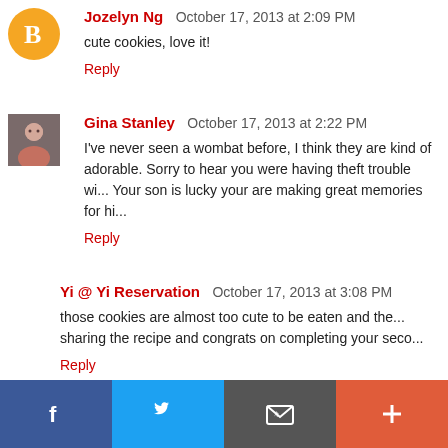Jozelyn Ng  October 17, 2013 at 2:09 PM
cute cookies, love it!
Reply
Gina Stanley  October 17, 2013 at 2:22 PM
I've never seen a wombat before, I think they are kind of adorable. Sorry to hear you were having theft trouble wi... Your son is lucky your are making great memories for hi...
Reply
Yi @ Yi Reservation  October 17, 2013 at 3:08 PM
those cookies are almost too cute to be eaten and the... sharing the recipe and congrats on completing your seco...
Reply